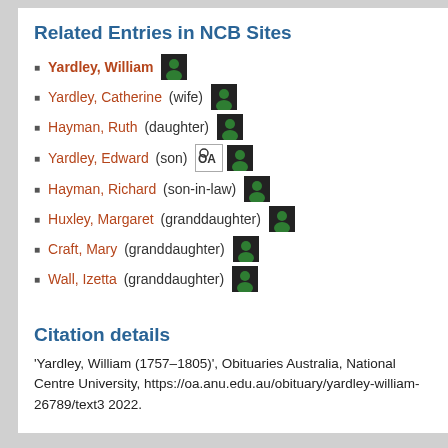Related Entries in NCB Sites
Yardley, William
Yardley, Catherine (wife)
Hayman, Ruth (daughter)
Yardley, Edward (son)
Hayman, Richard (son-in-law)
Huxley, Margaret (granddaughter)
Craft, Mary (granddaughter)
Wall, Izetta (granddaughter)
Citation details
'Yardley, William (1757–1805)', Obituaries Australia, National Centre University, https://oa.anu.edu.au/obituary/yardley-william-26789/text3 2022.